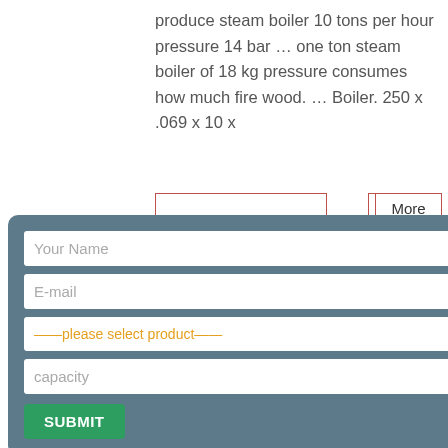produce steam boiler 10 tons per hour pressure 14 bar … one ton steam boiler of 18 kg pressure consumes how much fire wood. … Boiler. 250 x .069 x 10 x
More
[Figure (photo): Industrial steam boiler equipment in a factory/plant setting with pipes and machinery visible]
g/cm2g); Fuel: Wood Fired; Brand: Thermax; Usage/Application: Industrial; Weight: 1-14tons; Phase: Three phase; Material: Galvanized
Ask Price
View More